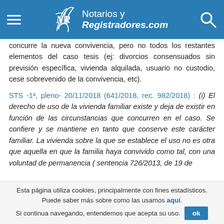Notarios y Registradores.com
concurre la nueva convivencia, pero no todos los restantes elementos del caso tesis (ej: divorcios consensuados sin previsión específica, vivienda alquilada, usuario no custodio, cese sobrevenido de la convivencia, etc).
STS -1ª, pleno- 20/11/2018 (641/2018, rec. 982/2018) : (i) El derecho de uso de la vivienda familiar existe y deja de existir en función de las circunstancias que concurren en el caso. Se confiere y se mantiene en tanto que conserve este carácter familiar. La vivienda sobre la que se establece el uso no es otra que aquella en que la familia haya convivido como tal, con una voluntad de permanencia ( sentencia 726/2013, de 19 de
Esta página utiliza cookies, principalmente con fines estadísticos. Puede saber más sobre como las usamos aquí. Si continua navegando, entendemos que acepta su uso.